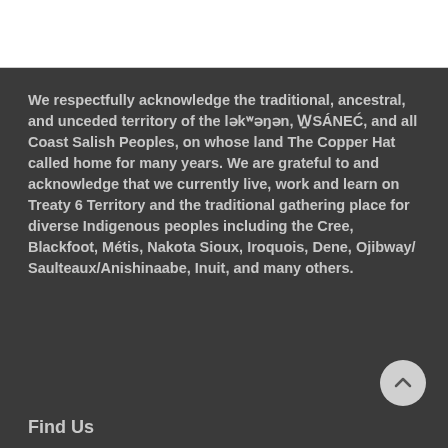We respectfully acknowledge the traditional, ancestral, and unceded territory of the ləkʷəŋən, WSÁNEĆ, and all Coast Salish Peoples, on whose land The Copper Hat called home for many years.  We are grateful to and acknowledge that we currently live, work and learn on Treaty 6 Territory and the traditional gathering place for diverse Indigenous peoples including the Cree, Blackfoot, Métis, Nakota Sioux, Iroquois, Dene, Ojibway/ Saulteaux/Anishinaabe, Inuit, and many others.
Find Us